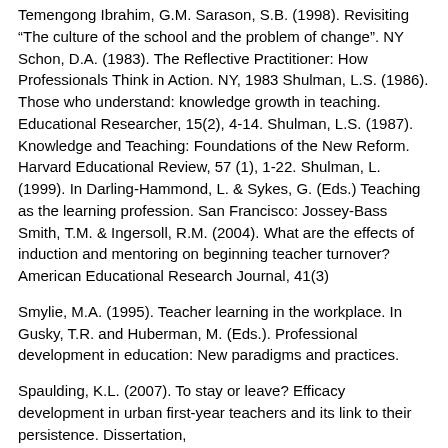Temengong Ibrahim, G.M. Sarason, S.B. (1998). Revisiting "The culture of the school and the problem of change". NY Schon, D.A. (1983). The Reflective Practitioner: How Professionals Think in Action. NY, 1983 Shulman, L.S. (1986). Those who understand: knowledge growth in teaching. Educational Researcher, 15(2), 4-14. Shulman, L.S. (1987). Knowledge and Teaching: Foundations of the New Reform. Harvard Educational Review, 57 (1), 1-22. Shulman, L. (1999). In Darling-Hammond, L. & Sykes, G. (Eds.) Teaching as the learning profession. San Francisco: Jossey-Bass Smith, T.M. & Ingersoll, R.M. (2004). What are the effects of induction and mentoring on beginning teacher turnover? American Educational Research Journal, 41(3)
Smylie, M.A. (1995). Teacher learning in the workplace. In Gusky, T.R. and Huberman, M. (Eds.). Professional development in education: New paradigms and practices.
Spaulding, K.L. (2007). To stay or leave? Efficacy development in urban first-year teachers and its link to their persistence. Dissertation,